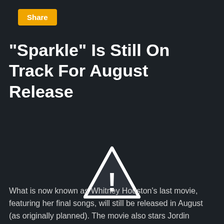Share
"Sparkle" Is Still On Track For August Release
[Figure (illustration): Warning triangle icon with exclamation mark, white outline on dark background]
What is now known as Whitney Houston's last movie, featuring her final songs, will still be released in August (as originally planned). The movie also stars Jordin Sparks (wh...